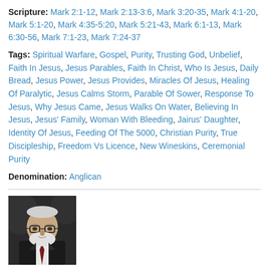Scripture: Mark 2:1-12, Mark 2:13-3:6, Mark 3:20-35, Mark 4:1-20, Mark 5:1-20, Mark 4:35-5:20, Mark 5:21-43, Mark 6:1-13, Mark 6:30-56, Mark 7:1-23, Mark 7:24-37
Tags: Spiritual Warfare, Gospel, Purity, Trusting God, Unbelief, Faith In Jesus, Jesus Parables, Faith In Christ, Who Is Jesus, Daily Bread, Jesus Power, Jesus Provides, Miracles Of Jesus, Healing Of Paralytic, Jesus Calms Storm, Parable Of Sower, Response To Jesus, Why Jesus Came, Jesus Walks On Water, Believing In Jesus, Jesus' Family, Woman With Bleeding, Jairus' Daughter, Identity Of Jesus, Feeding Of The 5000, Christian Purity, True Discipleship, Freedom Vs Licence, New Wineskins, Ceremonial Purity
Denomination: Anglican
[Figure (photo): Portrait photo of a middle-aged man with glasses and white beard, wearing a dark suit with red tie, against a dark background]
Jesus' Amazing Ministry Up North: Mark 5-9
Contributed by Ed Vasicek on Jun 9, 2014